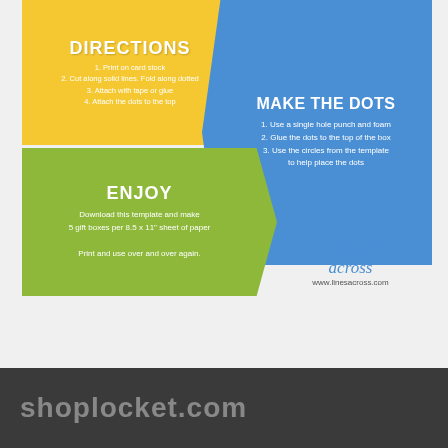[Figure (infographic): Instructional infographic with three arrow shapes: yellow (DIRECTIONS), blue (MAKE THE DOTS), green (ENJOY), plus Lines Across logo and website URL]
shoplocket.com